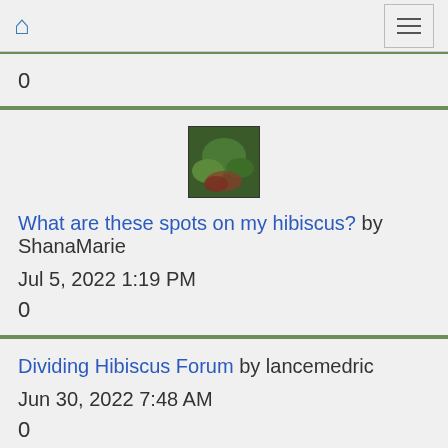Home / Menu
0
[Figure (photo): Small thumbnail image of hibiscus leaves with spots, showing green and reddish foliage]
What are these spots on my hibiscus? by ShanaMarie
Jul 5, 2022 1:19 PM
0
Dividing Hibiscus Forum by lancemedric
Jun 30, 2022 7:48 AM
0